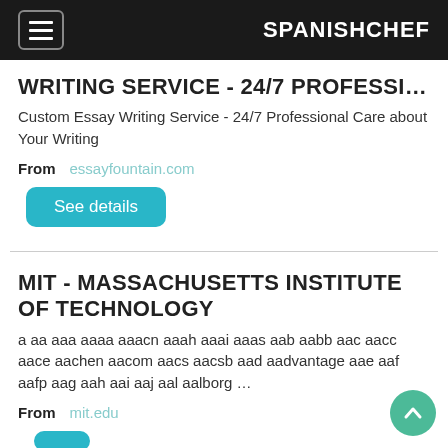SPANISHCHEF
WRITING SERVICE - 24/7 PROFESSI…
Custom Essay Writing Service - 24/7 Professional Care about Your Writing
From   essayfountain.com
See details
MIT - MASSACHUSETTS INSTITUTE OF TECHNOLOGY
a aa aaa aaaa aaacn aaah aaai aaas aab aabb aac aacc aace aachen aacom aacs aacsb aad aadvantage aae aaf aafp aag aah aai aaj aal aalborg …
From   mit.edu